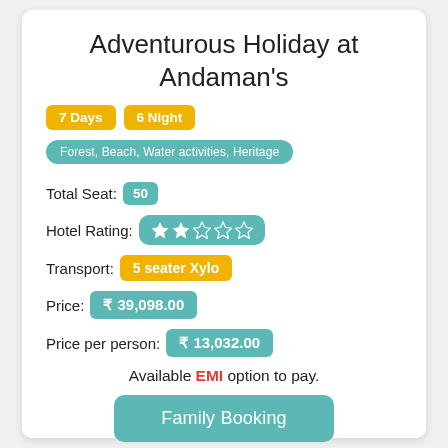Adventurous Holiday at Andaman's
7 Days  6 Night
Forest, Beach, Water activities, Heritage
Total Seat: 50
Hotel Rating: ★★☆☆☆
Transport: 5 seater Xylo
Price: ₹ 39,098.00
Price per person: ₹ 13,032.00
Available EMI option to pay.
Family Booking